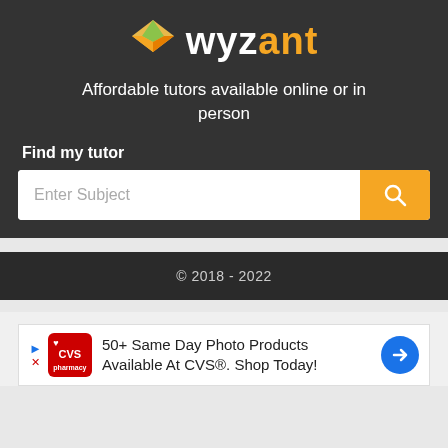[Figure (logo): Wyzant logo with diamond shape icon in green/orange/yellow and white text 'wyz' plus orange text 'ant']
Affordable tutors available online or in person
Find my tutor
[Figure (screenshot): Search input box with 'Enter Subject' placeholder and orange search button with magnifying glass icon]
© 2018 - 2022
[Figure (other): CVS Pharmacy advertisement: 50+ Same Day Photo Products Available At CVS®. Shop Today!]